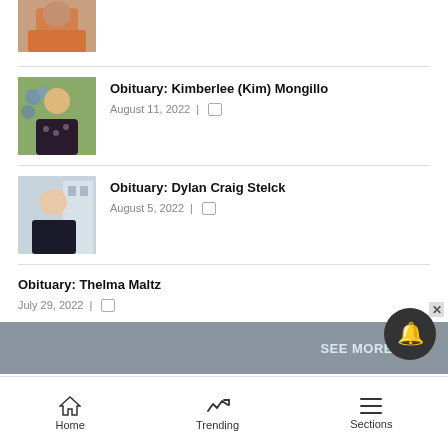[Figure (photo): Partial photo of a person in an orange shirt, cropped at top of page]
Obituary: Kimberlee (Kim) Mongillo
August 11, 2022
Obituary: Dylan Craig Stelck
August 5, 2022
Obituary: Thelma Maltz
July 29, 2022
Home | Trending | Sections